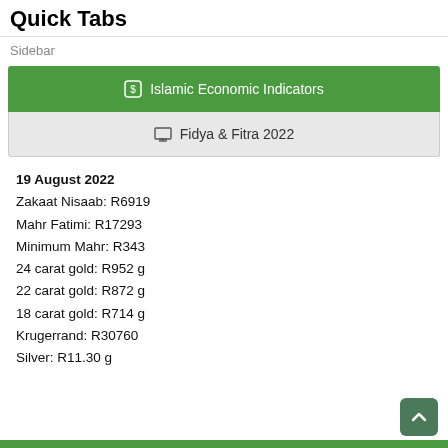Quick Tabs
Sidebar
🏦 Islamic Economic Indicators
🖥 Fidya & Fitra 2022
19 August 2022
Zakaat Nisaab: R6919
Mahr Fatimi: R17293
Minimum Mahr: R343
24 carat gold: R952 g
22 carat gold: R872 g
18 carat gold: R714 g
Krugerrand: R30760
Silver: R11.30 g